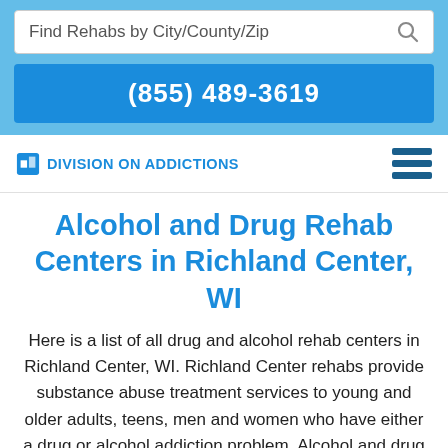Find Rehabs by City/County/Zip
(855) 489-3619
Division On Addictions
Alcohol and Drug Rehab Centers in Richland Center, WI
Here is a list of all drug and alcohol rehab centers in Richland Center, WI. Richland Center rehabs provide substance abuse treatment services to young and older adults, teens, men and women who have either a drug or alcohol addiction problem. Alcohol and drug rehabs in Richland Center may be free, low-cost or